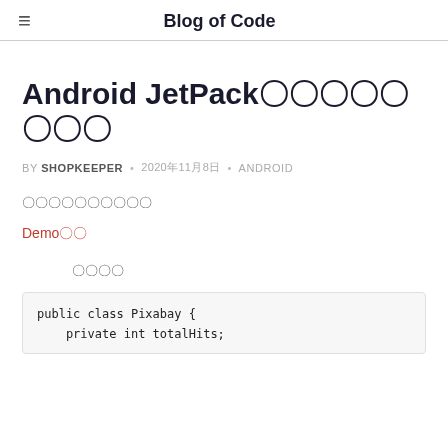Blog of Code
Android JetPack〇〇〇〇〇〇〇〇
BY SHOPKEEPER • 2020年11月8日 • ANDROID
〇〇〇〇〇〇〇〇〇〇
Demo〇〇
〇〇〇〇
[Figure (screenshot): Code block showing: public class Pixabay { private int totalHits;]